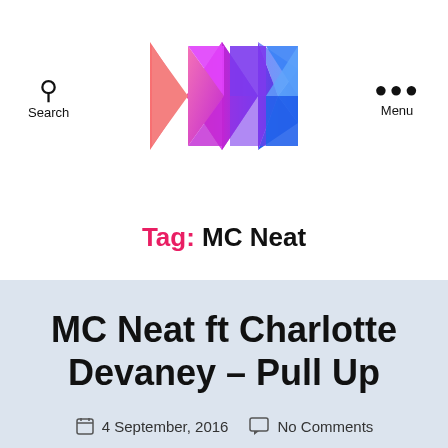[Figure (logo): Colorful geometric logo made of pink, purple, and blue diamond/triangle shapes arranged in two groups]
Search | Menu
Tag: MC Neat
MC Neat ft Charlotte Devaney – Pull Up
4 September, 2016  No Comments